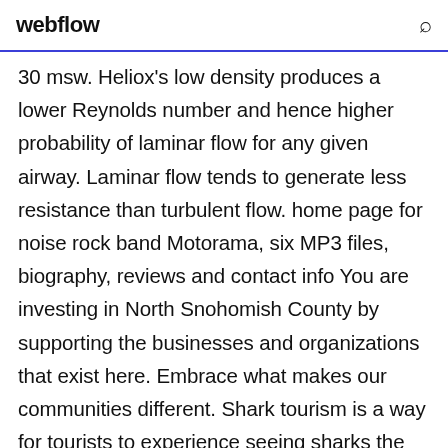webflow
30 msw. Heliox's low density produces a lower Reynolds number and hence higher probability of laminar flow for any given airway. Laminar flow tends to generate less resistance than turbulent flow. home page for noise rock band Motorama, six MP3 files, biography, reviews and contact info You are investing in North Snohomish County by supporting the businesses and organizations that exist here. Embrace what makes our communities different. Shark tourism is a way for tourists to experience seeing sharks the ocean rather than in an aquarium. It is a form of eco-tourism rooted in having communities appreciate that local shark species are more valuable alive than